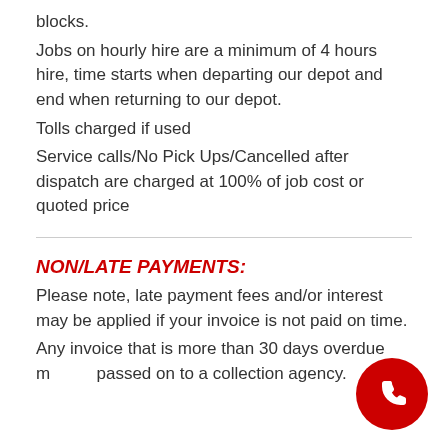blocks.
Jobs on hourly hire are a minimum of 4 hours hire, time starts when departing our depot and end when returning to our depot.
Tolls charged if used
Service calls/No Pick Ups/Cancelled after dispatch are charged at 100% of job cost or quoted price
NON/LATE PAYMENTS:
Please note, late payment fees and/or interest may be applied if your invoice is not paid on time.
Any invoice that is more than 30 days overdue may be passed on to a collection agency.